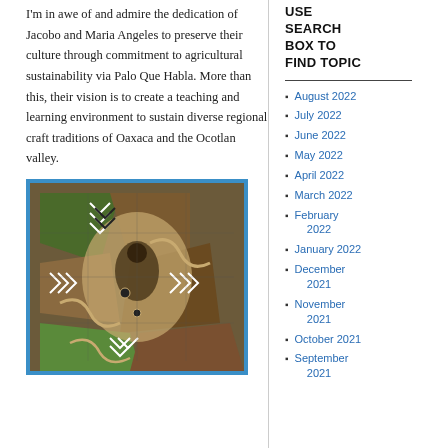I'm in awe of and admire the dedication of Jacobo and Maria Angeles to preserve their culture through commitment to agricultural sustainability via Palo Que Habla. More than this, their vision is to create a teaching and learning environment to sustain diverse regional craft traditions of Oaxaca and the Ocotlan valley.
[Figure (photo): Colorful mosaic or carved wooden piece with black and white chevron patterns, geometric shapes, browns, greens, and tans, framed in blue.]
USE SEARCH BOX TO FIND TOPIC
August 2022
July 2022
June 2022
May 2022
April 2022
March 2022
February 2022
January 2022
December 2021
November 2021
October 2021
September 2021